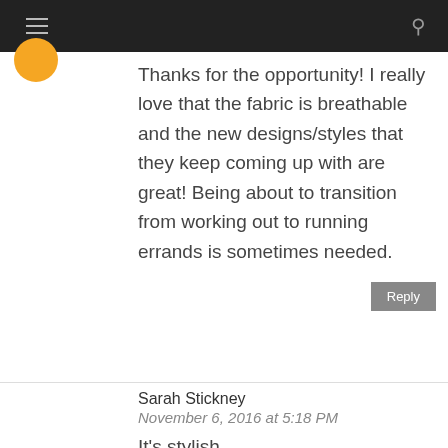[Figure (other): Orange circular avatar icon]
Thanks for the opportunity! I really love that the fabric is breathable and the new designs/styles that they keep coming up with are great! Being about to transition from working out to running errands is sometimes needed.
Reply
Sarah Stickney
November 6, 2016 at 5:18 PM
It's stylish.